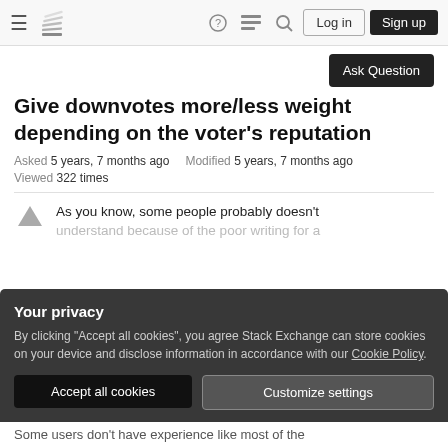Stack Exchange navigation bar with hamburger menu, logo, help, chat, search icons, Log in and Sign up buttons
Ask Question
Give downvotes more/less weight depending on the voter's reputation
Asked 5 years, 7 months ago   Modified 5 years, 7 months ago
Viewed 322 times
As you know, some people probably doesn't understand because of the poor writing for a
Your privacy
By clicking "Accept all cookies", you agree Stack Exchange can store cookies on your device and disclose information in accordance with our Cookie Policy.
Accept all cookies
Customize settings
Some users don't have experience like most of the